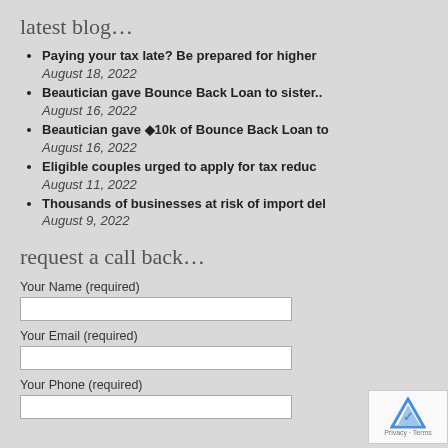latest blog…
Paying your tax late? Be prepared for higher
August 18, 2022
Beautician gave Bounce Back Loan to sister..
August 16, 2022
Beautician gave ◆10k of Bounce Back Loan to
August 16, 2022
Eligible couples urged to apply for tax reduc
August 11, 2022
Thousands of businesses at risk of import del
August 9, 2022
request a call back…
Your Name (required)
Your Email (required)
Your Phone (required)